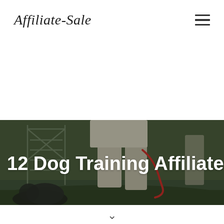Affiliate-Sale
[Figure (photo): Person walking a dog on a red leash outdoors, with a metal structure (agility equipment) visible in the background, greenery, dark moody tone.]
12 Dog Training Affiliate